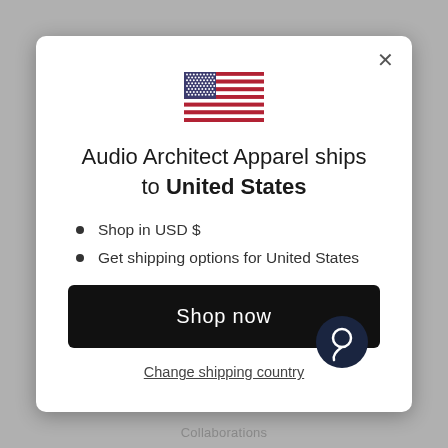[Figure (illustration): United States flag SVG illustration centered in the modal dialog]
Audio Architect Apparel ships to United States
Shop in USD $
Get shipping options for United States
Shop now
Change shipping country
Collaborations